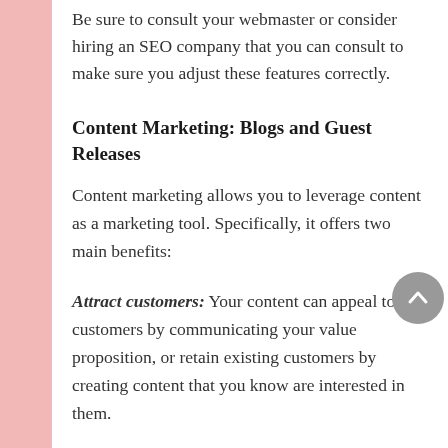Be sure to consult your webmaster or consider hiring an SEO company that you can consult to make sure you adjust these features correctly.
Content Marketing: Blogs and Guest Releases
Content marketing allows you to leverage content as a marketing tool. Specifically, it offers two main benefits:
Attract customers: Your content can appeal to new customers by communicating your value proposition, or retain existing customers by creating content that you know are interested in them.
Improve your branding: Content marketing...